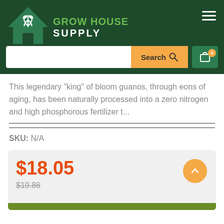[Figure (logo): Grow House Supply logo — green house icon with white leaf design and text 'GROW HOUSE SUPPLY']
This legendary "king" of bloom guanos, through eons of aging, has been naturally processed into a zero nitrogen and high phosphorous fertilizer t...
SKU: N/A
$18.05
$19.86